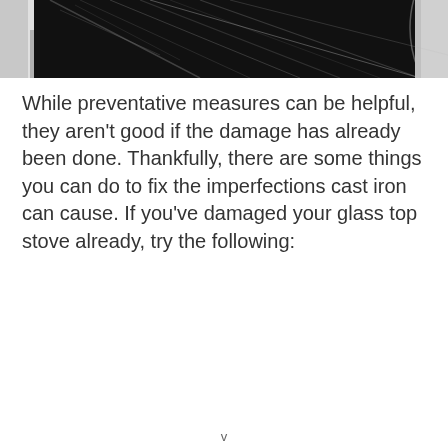[Figure (photo): Close-up photo of a glass top stove burner with a cast iron pan, showing scratches on the glass surface. The burner element is visible as a dark circle under the glass.]
While preventative measures can be helpful, they aren't good if the damage has already been done. Thankfully, there are some things you can do to fix the imperfections cast iron can cause. If you've damaged your glass top stove already, try the following:
v